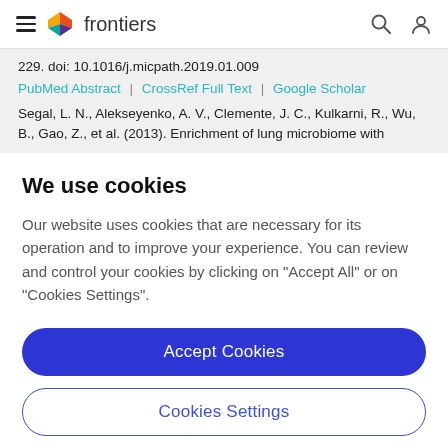frontiers
229. doi: 10.1016/j.micpath.2019.01.009
PubMed Abstract | CrossRef Full Text | Google Scholar
Segal, L. N., Alekseyenko, A. V., Clemente, J. C., Kulkarni, R., Wu, B., Gao, Z., et al. (2013). Enrichment of lung microbiome with
We use cookies
Our website uses cookies that are necessary for its operation and to improve your experience. You can review and control your cookies by clicking on "Accept All" or on "Cookies Settings".
Accept Cookies
Cookies Settings